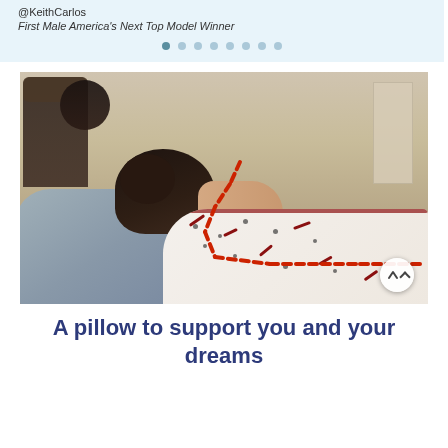@KeithCarlos
First Male America's Next Top Model Winner
[Figure (photo): Person lying on a gray pillow with red dashed lines indicating spine/neck alignment, covered by a floral patterned blanket. Navigation dots and scroll-up button visible.]
A pillow to support you and your dreams